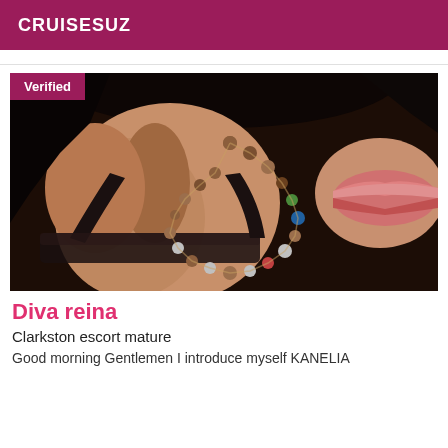CRUISESUZ
[Figure (photo): Close-up photo of a woman's torso wearing a black lace bra with a colorful beaded necklace. A 'Verified' badge appears in the top-left corner.]
Diva reina
Clarkston escort mature
Good morning Gentlemen I introduce myself KANELIA